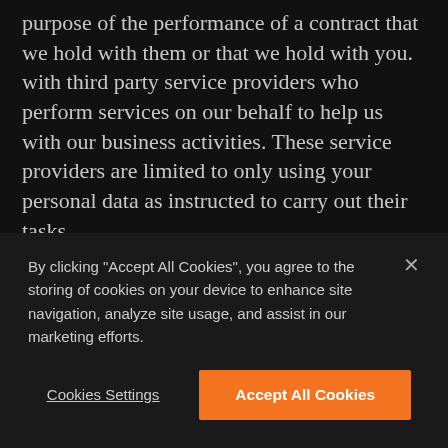purpose of the performance of a contract that we hold with them or that we hold with you. with third party service providers who perform services on our behalf to help us with our business activities. These service providers are limited to only using your personal data as instructed to carry out their tasks. permitted or required by applicable law or regulatory requirements. with law enforcement authorities or other government officials. with other third parties with your consent.
By clicking "Accept All Cookies", you agree to the storing of cookies on your device to enhance site navigation, analyze site usage, and assist in our marketing efforts.
Cookies Settings
Accept All Cookies